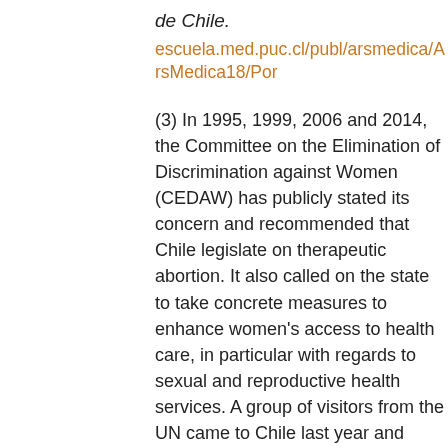de Chile.
escuela.med.puc.cl/publ/arsmedica/ArsMedica18/Por
(3) In 1995, 1999, 2006 and 2014, the Committee on the Elimination of Discrimination against Women (CEDAW) has publicly stated its concern and recommended that Chile legislate on therapeutic abortion. It also called on the state to take concrete measures to enhance women's access to health care, in particular with regards to sexual and reproductive health services. A group of visitors from the UN came to Chile last year and shared their concerns about the abortion legislation in this country. They were relieved to hear about the new legislation that was going to be announced. On 26 February this year, UN Women